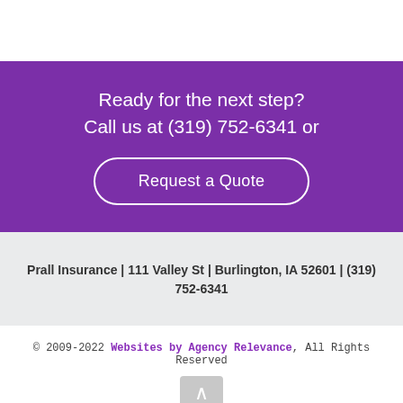Ready for the next step? Call us at (319) 752-6341 or
Request a Quote
Prall Insurance | 111 Valley St | Burlington, IA 52601 | (319) 752-6341
© 2009-2022 Websites by Agency Relevance, All Rights Reserved